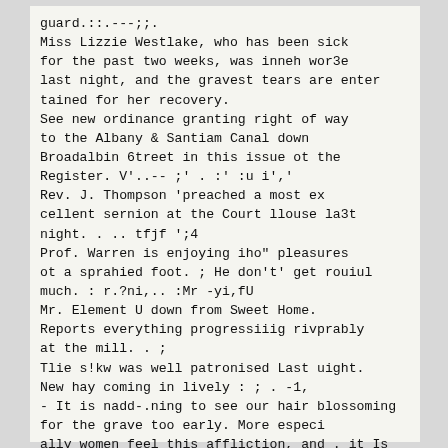guard.::.---;;.
Miss Lizzie Westlake, who has been sick for the past two weeks, was inneh wor3e last night, and the gravest tears are enter tained for her recovery.
See new ordinance granting right of way to the Albany & Santiam Canal down Broadalbin 6treet in this issue ot the Register. V'..-- ;' . :' :u i','
Rev. J. Thompson 'preached a most ex cellent sernion at the Court llouse la3t night. . .. tfjf ';4
Prof. Warren is enjoying iho" pleasures ot a sprahied foot. ; He don't' get rouiul much. : r.?ni,.. :Mr -yi,fU
Mr. Element U down from Sweet Home. Reports everything progressiiig rivprably at the mill. . ;
Tlie s!kw was well patronised Last uight. New hay coming in lively : ; . -1,
- It is nadd-.ning to see our hair blossoming for the grave too early. More especi ally women feel this affliction, and . it Is vin a creator deformity to them than to